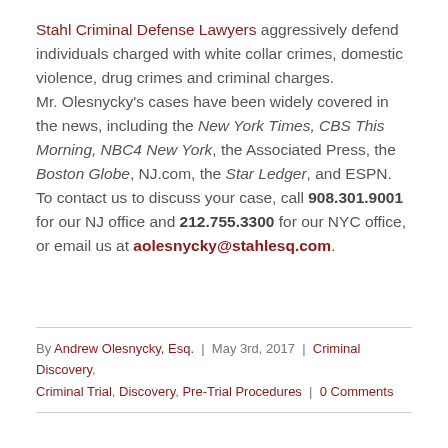Stahl Criminal Defense Lawyers aggressively defend individuals charged with white collar crimes, domestic violence, drug crimes and criminal charges. Mr. Olesnycky's cases have been widely covered in the news, including the New York Times, CBS This Morning, NBC4 New York, the Associated Press, the Boston Globe, NJ.com, the Star Ledger, and ESPN. To contact us to discuss your case, call 908.301.9001 for our NJ office and 212.755.3300 for our NYC office, or email us at aolesnycky@stahlesq.com.
By Andrew Olesnycky, Esq. | May 3rd, 2017 | Criminal Discovery, Criminal Trial, Discovery, Pre-Trial Procedures | 0 Comments